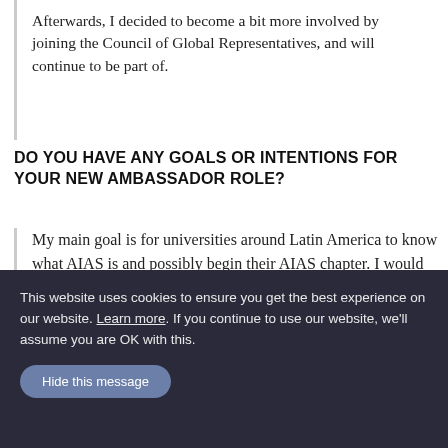Afterwards, I decided to become a bit more involved by joining the Council of Global Representatives, and will continue to be part of.
DO YOU HAVE ANY GOALS OR INTENTIONS FOR YOUR NEW AMBASSADOR ROLE?
My main goal is for universities around Latin America to know what AIAS is and possibly begin their AIAS chapter. I would begin this by contacting universities around Latin America and talk to them about how they can begin their chapter and how involved they can be.
This website uses cookies to ensure you get the best experience on our website. Learn more. If you continue to use our website, we'll assume you are OK with this.